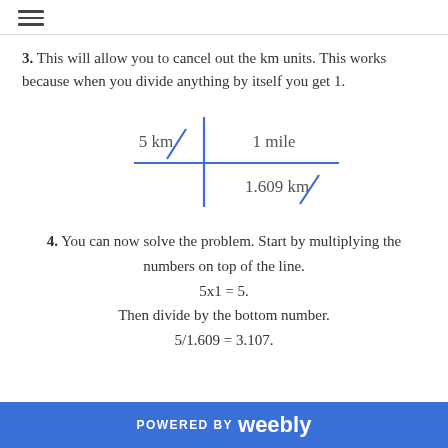≡
3. This will allow you to cancel out the km units. This works because when you divide anything by itself you get 1.
[Figure (math-figure): A fraction diagram showing '5 km' in the top-left, '1 mile' in the top-right, a horizontal blue line, and '1.609 km' in the bottom-right. Diagonal blue slash marks cross out the 'km' units. A vertical blue line divides the numerator from denominator sections.]
4. You can now solve the problem. Start by multiplying the numbers on top of the line. 5x1 = 5. Then divide by the bottom number. 5/1.609 = 3.107.
POWERED BY weebly